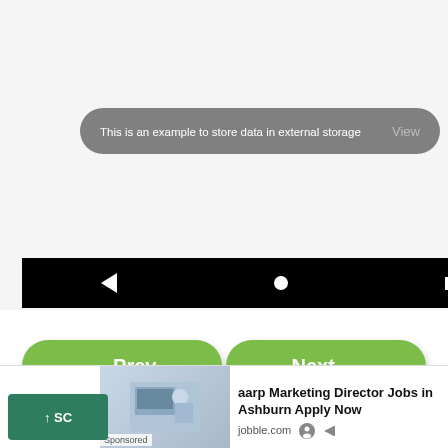[Figure (screenshot): Android app screenshot showing a tooltip bubble with text 'This is an example to store data in external storage' over a light gray background, with a black Android navigation bar below showing back triangle, home circle, and recents square buttons.]
← Prev
Next →
For Videos Join Our Youtube Channel: Join Now
[Figure (screenshot): Advertisement banner showing 'aarp Marketing Director Jobs in Ashburn Apply Now' from jobble.com, with a sponsored label and a photo of people looking at a laptop.]